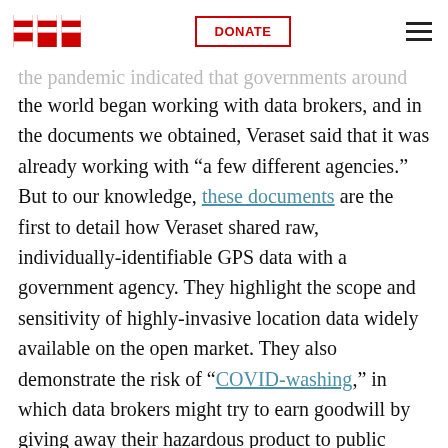EFF | DONATE | menu
between private location data brokers and government agencies. beginning at the pandemic indicated that governments around the world began working with data brokers, and in the documents we obtained, Veraset said that it was already working with “a few different agencies.” But to our knowledge, these documents are the first to detail how Veraset shared raw, individually-identifiable GPS data with a government agency. They highlight the scope and sensitivity of highly-invasive location data widely available on the open market. They also demonstrate the risk of “COVID-washing,” in which data brokers might try to earn goodwill by giving away their hazardous product to public health officials during a health crisis.
When asked to comment on the relationship, Sam Quinney, director of The Lab @ DC, gave the